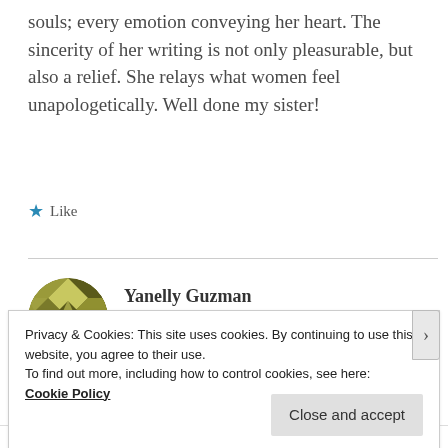souls; every emotion conveying her heart. The sincerity of her writing is not only pleasurable, but also a relief. She relays what women feel unapologetically. Well done my sister!
★ Like
Yanelly Guzman
September 26, 2019 at 3:15 pm  Reply
Privacy & Cookies: This site uses cookies. By continuing to use this website, you agree to their use.
To find out more, including how to control cookies, see here:
Cookie Policy
Close and accept